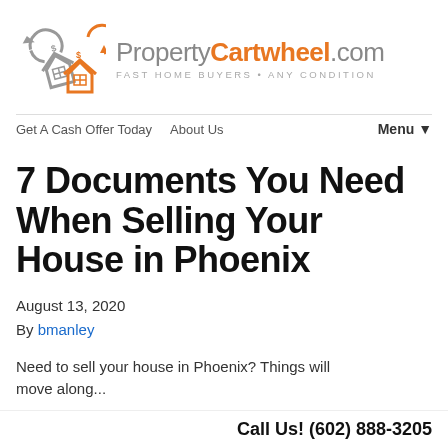[Figure (logo): PropertyCartwheel.com logo with two house icons (one gray, one orange) with dollar signs and arrows, alongside text 'PropertyCartwheel.com' and tagline 'FAST HOME BUYERS • ANY CONDITION']
Get A Cash Offer Today   About Us   Menu ▾
7 Documents You Need When Selling Your House in Phoenix
August 13, 2020
By bmanley
Need to sell your house in Phoenix? Things will move along...
Call Us! (602) 888-3205